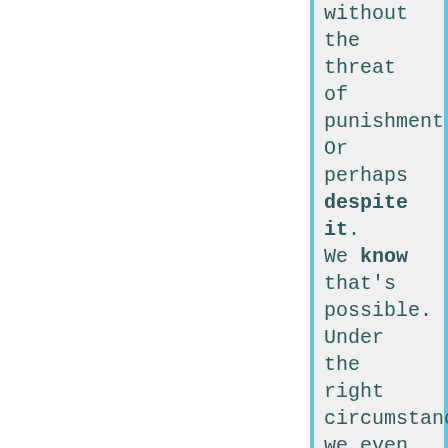without the threat of punishment. Or perhaps despite it. We know that's possible. Under the right circumstances, we even revere the people who did